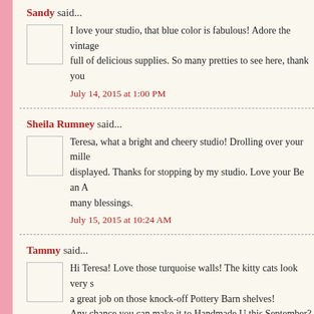Sandy said...
I love your studio, that blue color is fabulous! Adore the vintage full of delicious supplies. So many pretties to see here, thank you
July 14, 2015 at 1:00 PM
Sheila Rumney said...
Teresa, what a bright and cheery studio! Drolling over your mille displayed. Thanks for stopping by my studio. Love your Be an A many blessings.
July 15, 2015 at 10:24 AM
Tammy said...
Hi Teresa! Love those turquoise walls! The kitty cats look very s a great job on those knock-off Pottery Barn shelves! Any chance you can make it to Handmade U this September? ;)
July 15, 2015 at 10:01 PM